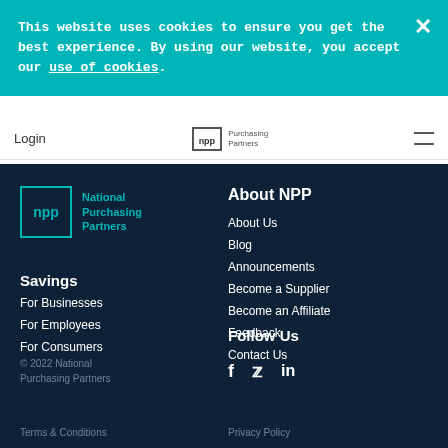This website uses cookies to ensure you get the best experience. By using our website, you accept our use of cookies.
Login | npp Purchasing Partners ☰
[Figure (logo): NPP National Purchasing Partners logo - teal outlined box with npp text and company name]
Savings
For Businesses
For Employees
For Consumers
About NPP
About Us
Blog
Announcements
Become a Supplier
Become an Affiliate
Feedback
Contact Us
© 2022 National Purchasing Partners
Follow Us
f  t  in
Terms & Conditions    Privacy Policy